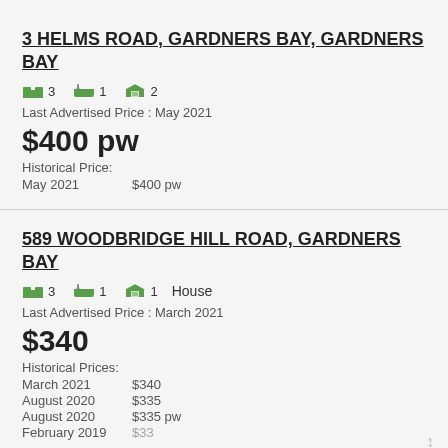3 HELMS ROAD, GARDNERS BAY, GARDNERS BAY
Beds: 3  Baths: 1  Cars: 2
Last Advertised Price : May 2021
$400 pw
Historical Price:
May 2021   $400 pw
589 WOODBRIDGE HILL ROAD, GARDNERS BAY
Beds: 3  Baths: 1  Cars: 1  House
Last Advertised Price : March 2021
$340
Historical Prices:
March 2021   $340
August 2020   $335
August 2020   $335 pw
February 2019   $330